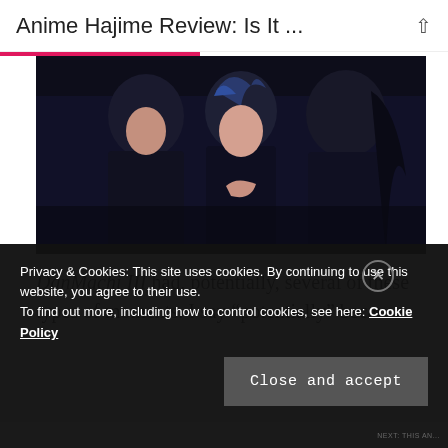Anime Hajime Review: Is It ...
[Figure (photo): Dark anime scene showing several characters in dark clothing, one with blue hair, in a dramatic pose against a dark background.]
DanMachi III had, potentially, several of these types of moments. I say “potentially” because
Privacy & Cookies: This site uses cookies. By continuing to use this website, you agree to their use.
To find out more, including how to control cookies, see here: Cookie Policy
Close and accept